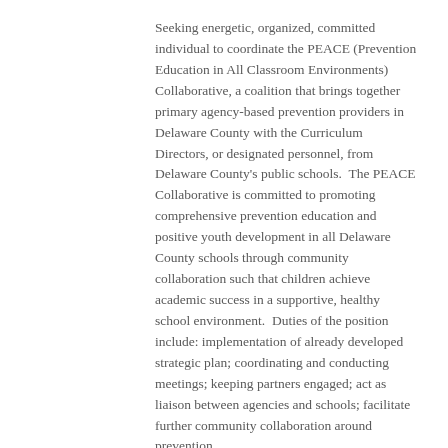Seeking energetic, organized, committed individual to coordinate the PEACE (Prevention Education in All Classroom Environments) Collaborative, a coalition that brings together primary agency-based prevention providers in Delaware County with the Curriculum Directors, or designated personnel, from Delaware County's public schools.  The PEACE Collaborative is committed to promoting comprehensive prevention education and positive youth development in all Delaware County schools through community collaboration such that children achieve academic success in a supportive, healthy school environment.  Duties of the position include: implementation of already developed strategic plan; coordinating and conducting meetings; keeping partners engaged; act as liaison between agencies and schools; facilitate further community collaboration around prevention.
Additionally, this person will assist with youth-led prevention efforts and assist with violence prevention programming, as part of the Violence Prevention Team at HelpLine.
Qualifications: Bachelor's degree plus relevant experience...